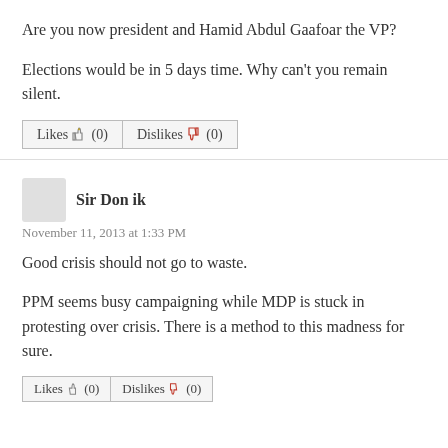Are you now president and Hamid Abdul Gaafoar the VP?
Elections would be in 5 days time. Why can't you remain silent.
[Figure (other): Likes (0) and Dislikes (0) buttons with thumbs up and thumbs down icons]
Sir Don ik
November 11, 2013 at 1:33 PM
Good crisis should not go to waste.
PPM seems busy campaigning while MDP is stuck in protesting over crisis. There is a method to this madness for sure.
[Figure (other): Partially visible Likes and Dislikes buttons at bottom]